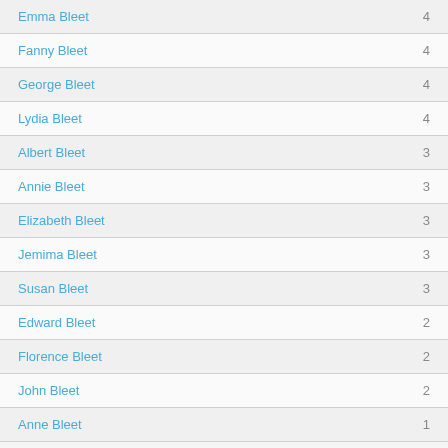Emma Bleet 4
Fanny Bleet 4
George Bleet 4
Lydia Bleet 4
Albert Bleet 3
Annie Bleet 3
Elizabeth Bleet 3
Jemima Bleet 3
Susan Bleet 3
Edward Bleet 2
Florence Bleet 2
John Bleet 2
Anne Bleet 1